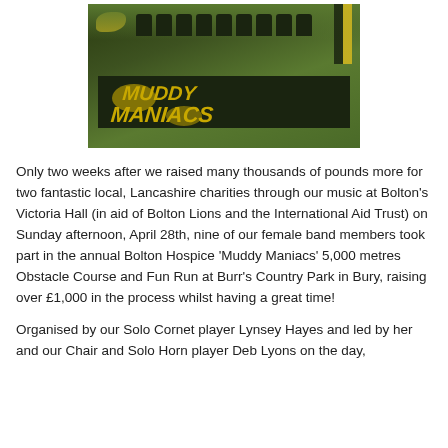[Figure (photo): Group of people holding a black and yellow 'Muddy Maniacs' banner on a grassy field, with a yellow and black flag visible on the right side.]
Only two weeks after we raised many thousands of pounds more for two fantastic local, Lancashire charities through our music at Bolton's Victoria Hall (in aid of Bolton Lions and the International Aid Trust) on Sunday afternoon, April 28th, nine of our female band members took part in the annual Bolton Hospice 'Muddy Maniacs' 5,000 metres Obstacle Course and Fun Run at Burr's Country Park in Bury, raising over £1,000 in the process whilst having a great time!
Organised by our Solo Cornet player Lynsey Hayes and led by her and our Chair and Solo Horn player Deb Lyons on the day,